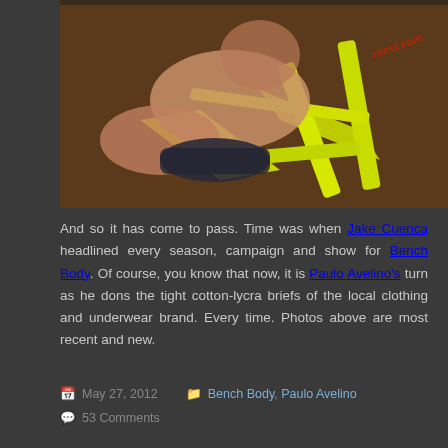[Figure (photo): A person reclining shirtless in a bright yellow lounge chair, wearing dark briefs. A watermark partially visible in the upper right corner.]
And so it has come to pass. Time was when Jake Cuenca headlined every season, campaign and show for Bench Body. Of course, you know that now, it is Paulo Avelino's turn as he dons the tight cotton-lycra briefs of the local clothing and underwear brand. Every time. Photos above are most recent and new.
May 27, 2012   Bench Body, Paulo Avelino
53 Comments